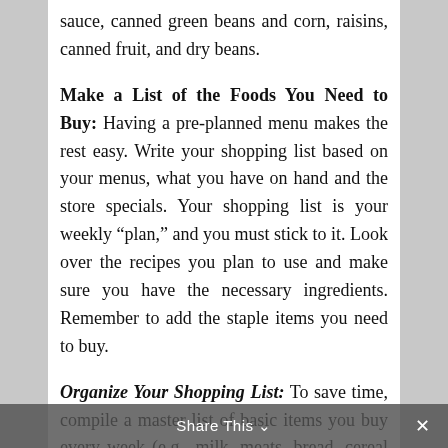sauce, canned green beans and corn, raisins, canned fruit, and dry beans.
Make a List of the Foods You Need to Buy: Having a pre-planned menu makes the rest easy. Write your shopping list based on your menus, what you have on hand and the store specials. Your shopping list is your weekly “plan,” and you must stick to it. Look over the recipes you plan to use and make sure you have the necessary ingredients. Remember to add the staple items you need to buy.
Organize Your Shopping List: To save time, compile a master list of basic items you buy every week (e.g., milk, meats, bread, cereal and produce), and make several copies of it. Keep a pencil and a copy of this list handy to jot down other items as your
Share This